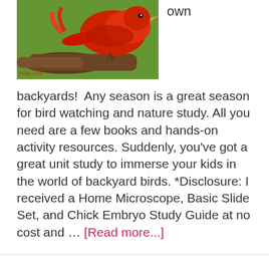[Figure (photo): A red bird perched on a branch, partially visible at top of page. Watermark text 'holar.com' visible in bottom left of image.]
own
backyards!  Any season is a great season for bird watching and nature study. All you need are a few books and hands-on activity resources. Suddenly, you've got a great unit study to immerse your kids in the world of backyard birds. *Disclosure: I received a Home Microscope, Basic Slide Set, and Chick Embryo Study Guide at no cost and … [Read more...]
Learning about Caves & Caverns at Ruby Falls